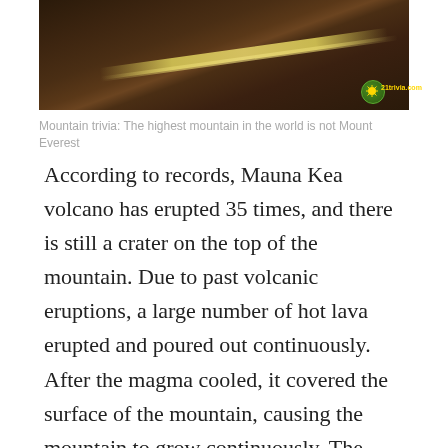[Figure (photo): Close-up photograph of dark volcanic rock surface with a bright yellowish-gold stripe or vein running diagonally across it. A small logo with '21trivia.com' text appears in the lower right corner.]
Mountain trivia: The highest mountain in the world is not Mount Everest
According to records, Mauna Kea volcano has erupted 35 times, and there is still a crater on the top of the mountain. Due to past volcanic eruptions, a large number of hot lava erupted and poured out continuously. After the magma cooled, it covered the surface of the mountain, causing the mountain to grow continuously. The large crater of this volcano is called “Mocaviobio” by the locals, which means “Island of Fire”. Its last eruption was in April 1984. The lava flowed for 17 miles towards Hilo, the capital of the Big Island of